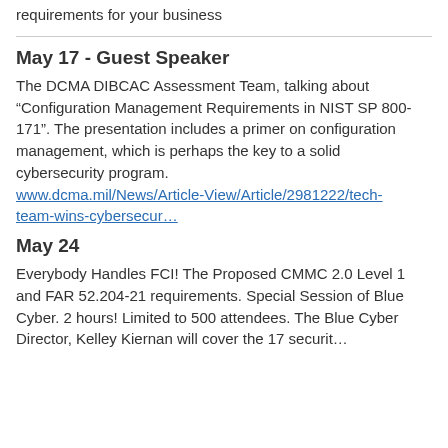requirements for your business
May 17 - Guest Speaker
The DCMA DIBCAC Assessment Team, talking about “Configuration Management Requirements in NIST SP 800-171”. The presentation includes a primer on configuration management, which is perhaps the key to a solid cybersecurity program. www.dcma.mil/News/Article-View/Article/2981222/tech-team-wins-cybersecur…
May 24
Everybody Handles FCI! The Proposed CMMC 2.0 Level 1 and FAR 52.204-21 requirements. Special Session of Blue Cyber. 2 hours! Limited to 500 attendees. The Blue Cyber Director, Kelley Kiernan will cover the 17 security